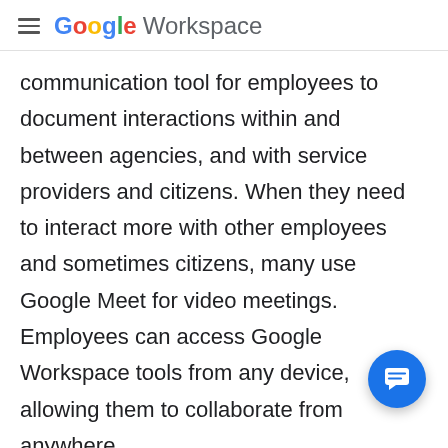Google Workspace
communication tool for employees to document interactions within and between agencies, and with service providers and citizens. When they need to interact more with other employees and sometimes citizens, many use Google Meet for video meetings. Employees can access Google Workspace tools from any device, allowing them to collaborate from anywhere.
“I don’t have to be at the office, or even in Puebla, to get my work done,” says Sauret. “The rem… work experience is seamless, which was ou… We can work from virtually anywhere and stay
[Figure (other): Blue circular chat/message button in the bottom right corner]